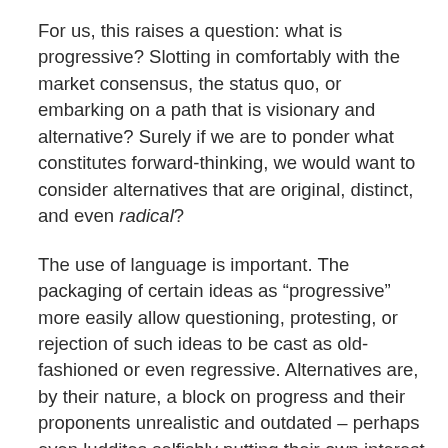For us, this raises a question: what is progressive? Slotting in comfortably with the market consensus, the status quo, or embarking on a path that is visionary and alternative? Surely if we are to ponder what constitutes forward-thinking, we would want to consider alternatives that are original, distinct, and even radical?
The use of language is important. The packaging of certain ideas as “progressive” more easily allow questioning, protesting, or rejection of such ideas to be cast as old-fashioned or even regressive. Alternatives are, by their nature, a block on progress and their proponents unrealistic and outdated – perhaps even luddites selfishly putting their own interest above improvements for their service users. We see this abduction of language played out